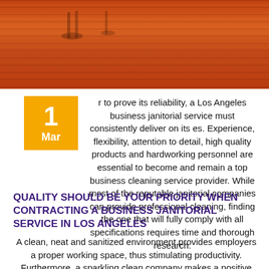[Figure (photo): Photo of a wooden floor with an office chair, warm orange/brown tones]
r to prove its reliability, a Los Angeles business janitorial service must consistently deliver on its es. Experience, flexibility, attention to detail, high quality products and hardworking personnel are essential to become and remain a top business cleaning service provider. While most of the reputable janitorial companies can provide professional cleaning, finding the one that will fully comply with all specifications requires time and thorough research.
QUALITY SHOULD BE YOUR PRIORITY WHEN CONTRACTING A BUSINESS JANITORIAL SERVICE IN LOS ANGELES
A clean, neat and sanitized environment provides employers a proper working space, thus stimulating productivity. Furthermore, a sparkling clean company makes a positive impression on clients, which may